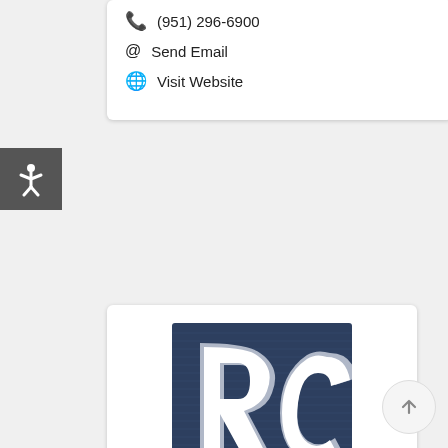(951) 296-6900
Send Email
Visit Website
[Figure (logo): Rancho Christian School RC logo — dark navy background with interlocking R and C letters in white with gray outline]
RANCHO CHRISTIAN SCHOOL
31300 Rancho Community Way, Temecula, CA 92592